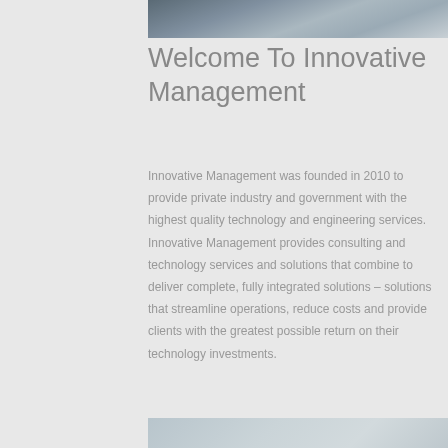[Figure (photo): Partial photo of a person, cropped at top of page]
Welcome To Innovative Management
Innovative Management was founded in 2010 to provide private industry and government with the highest quality technology and engineering services. Innovative Management provides consulting and technology services and solutions that combine to deliver complete, fully integrated solutions – solutions that streamline operations, reduce costs and provide clients with the greatest possible return on their technology investments.
[Figure (photo): Partial photo visible at bottom of page]